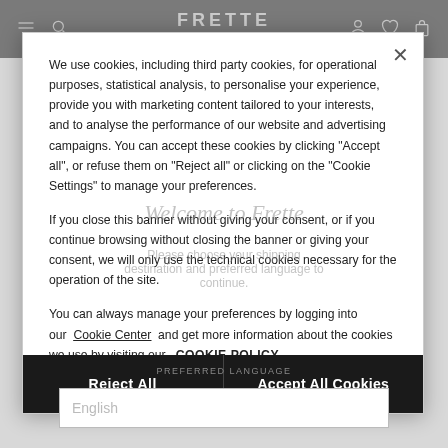FRETTE 1860
We use cookies, including third party cookies, for operational purposes, statistical analysis, to personalise your experience, provide you with marketing content tailored to your interests, and to analyse the performance of our website and advertising campaigns. You can accept these cookies by clicking "Accept all", or refuse them on "Reject all" or clicking on the "Cookie Settings" to manage your preferences.
If you close this banner without giving your consent, or if you continue browsing without closing the banner or giving your consent, we will only use the technical cookies necessary for the operation of the site.
You can always manage your preferences by logging into our Cookie Center and get more information about the cookies we use by visiting our COOKIE POLICY
Reject All
Accept All Cookies
Welcome to Frette
Please choose your shipping destination and preferred language to continue.
United States
PREFERRED LANGUAGE
English